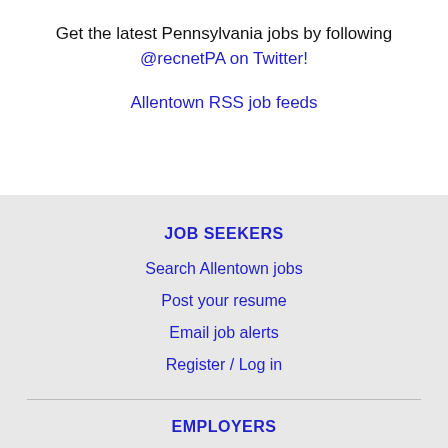Get the latest Pennsylvania jobs by following @recnetPA on Twitter!
Allentown RSS job feeds
JOB SEEKERS
Search Allentown jobs
Post your resume
Email job alerts
Register / Log in
EMPLOYERS
Post jobs